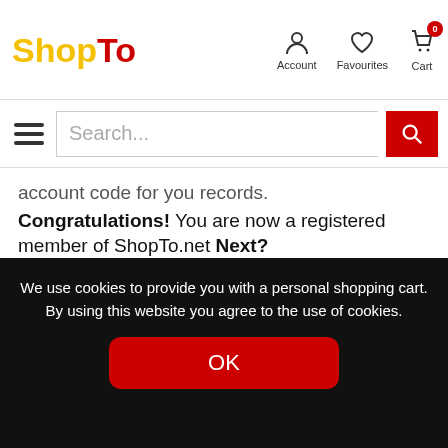ShopTo — Account, Favourites, Cart (0)
account code for you records. Congratulations! You are now a registered member of ShopTo.net Next?
Purchasing your first item
If you aren't already, then log into your account using the email and the password you used when you signed up to ShopTo.net. The form for signing up can be found on the left hand side just below the "HOME" "CHARTS"
We use cookies to provide you with a personal shopping cart. By using this website you agree to the use of cookies.